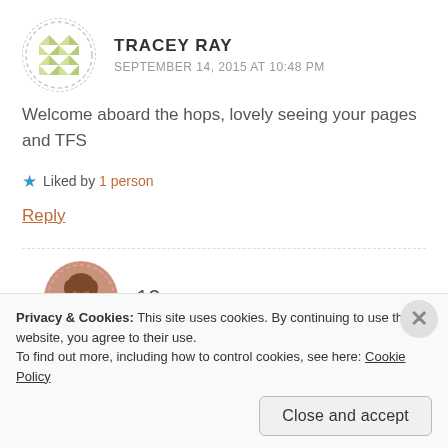TRACEY RAY
SEPTEMBER 14, 2015 AT 10:48 PM
Welcome aboard the hops, lovely seeing your pages and TFS
★ Liked by 1 person
Reply
10nya
Privacy & Cookies: This site uses cookies. By continuing to use this website, you agree to their use.
To find out more, including how to control cookies, see here: Cookie Policy
Close and accept